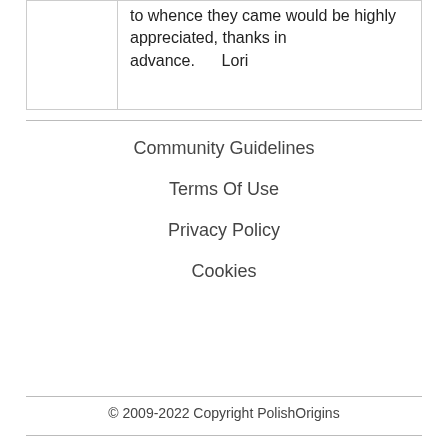to whence they came would be highly appreciated, thanks in advance.      Lori
Community Guidelines
Terms Of Use
Privacy Policy
Cookies
© 2009-2022 Copyright PolishOrigins